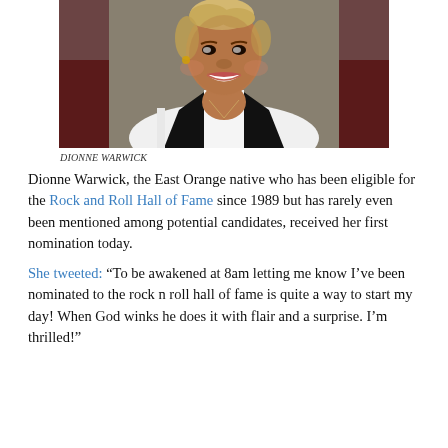[Figure (photo): Portrait photo of Dionne Warwick smiling, wearing a white jacket with black trim, seated in front of a dark red background.]
DIONNE WARWICK
Dionne Warwick, the East Orange native who has been eligible for the Rock and Roll Hall of Fame since 1989 but has rarely even been mentioned among potential candidates, received her first nomination today.
She tweeted: “To be awakened at 8am letting me know I’ve been nominated to the rock n roll hall of fame is quite a way to start my day! When God winks he does it with flair and a surprise. I’m thrilled!”